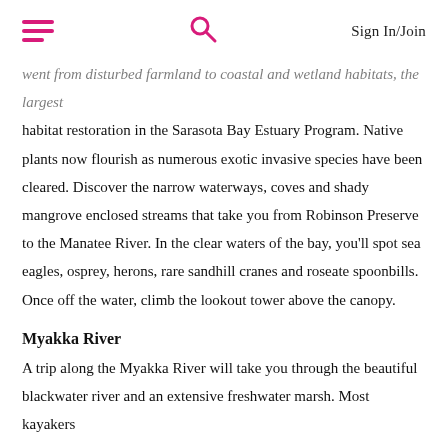Sign In/Join
went from disturbed farmland to coastal and wetland habitats, the largest habitat restoration in the Sarasota Bay Estuary Program. Native plants now flourish as numerous exotic invasive species have been cleared. Discover the narrow waterways, coves and shady mangrove enclosed streams that take you from Robinson Preserve to the Manatee River. In the clear waters of the bay, you'll spot sea eagles, osprey, herons, rare sandhill cranes and roseate spoonbills. Once off the water, climb the lookout tower above the canopy.
Myakka River
A trip along the Myakka River will take you through the beautiful blackwater river and an extensive freshwater marsh. Most kayakers